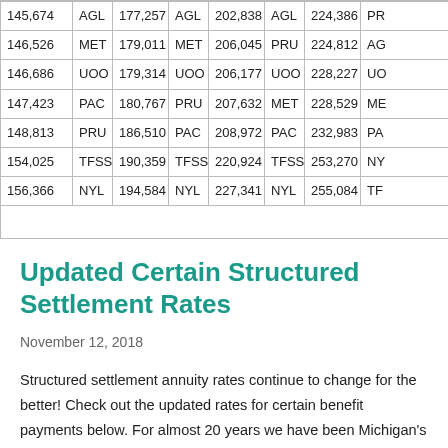| 145,674 | AGL | 177,257 | AGL | 202,838 | AGL | 224,386 | PR |
| 146,526 | MET | 179,011 | MET | 206,045 | PRU | 224,812 | AG |
| 146,686 | UOO | 179,314 | UOO | 206,177 | UOO | 228,227 | UO |
| 147,423 | PAC | 180,767 | PRU | 207,632 | MET | 228,529 | ME |
| 148,813 | PRU | 186,510 | PAC | 208,972 | PAC | 232,983 | PA |
| 154,025 | TFSS | 190,359 | TFSS | 220,924 | TFSS | 253,270 | NY |
| 156,366 | NYL | 194,584 | NYL | 227,341 | NYL | 255,084 | TF |
Updated Certain Structured Settlement Rates
November 12, 2018
Structured settlement annuity rates continue to change for the better! Check out the updated rates for certain benefit payments below. For almost 20 years we have been Michigan's premier Plaintiff Focused Structured